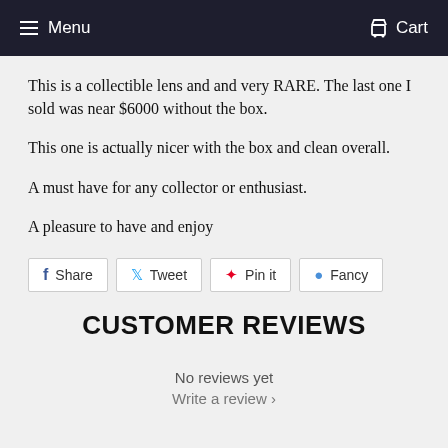Menu  Cart
This is a collectible lens and and very RARE. The last one I sold was near $6000 without the box.
This one is actually nicer with the box and clean overall.
A must have for any collector or enthusiast.
A pleasure to have and enjoy
Share  Tweet  Pin it  Fancy
CUSTOMER REVIEWS
No reviews yet
Write a review ›